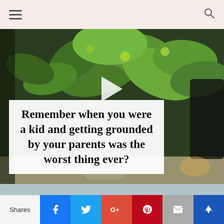Navigation bar with hamburger menu and search icon
[Figure (screenshot): Video thumbnail showing a green plant/flower arrangement in a glass vase on a table, with a white play button triangle in the center, and a white text overlay box at the bottom left reading: Remember when you were a kid and getting grounded by your parents was the worst thing ever?]
Remember when you were a kid and getting grounded by your parents was the worst thing ever?
Shares | Facebook | Twitter | Google+ | Pinterest | Email | Crown